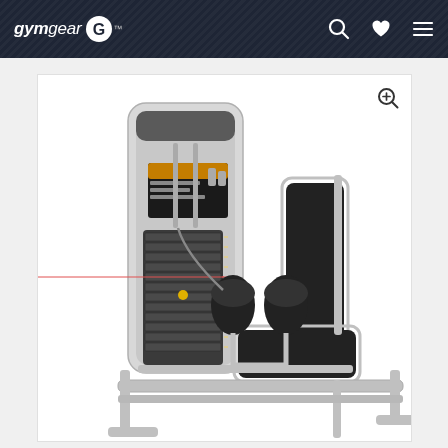gymgear
[Figure (photo): A gym equipment machine — inner/outer thigh machine with a silver metal frame, black padded seat and back rest, two black padded leg rollers, and a weight stack visible on the left side column. The machine is shown on a white background.]